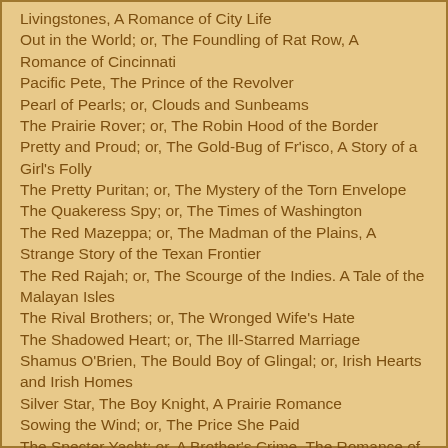Livingstones, A Romance of City Life
Out in the World; or, The Foundling of Rat Row, A Romance of Cincinnati
Pacific Pete, The Prince of the Revolver
Pearl of Pearls; or, Clouds and Sunbeams
The Prairie Rover; or, The Robin Hood of the Border
Pretty and Proud; or, The Gold-Bug of Fr'isco, A Story of a Girl's Folly
The Pretty Puritan; or, The Mystery of the Torn Envelope
The Quakeress Spy; or, The Times of Washington
The Red Mazeppa; or, The Madman of the Plains, A Strange Story of the Texan Frontier
The Red Rajah; or, The Scourge of the Indies. A Tale of the Malayan Isles
The Rival Brothers; or, The Wronged Wife's Hate
The Shadowed Heart; or, The Ill-Starred Marriage
Shamus O'Brien, The Bould Boy of Glingal; or, Irish Hearts and Irish Homes
Silver Star, The Boy Knight, A Prairie Romance
Sowing the Wind; or, The Price She Paid
The Specter Yacht; or, A Brother's Crime, The Romance of a